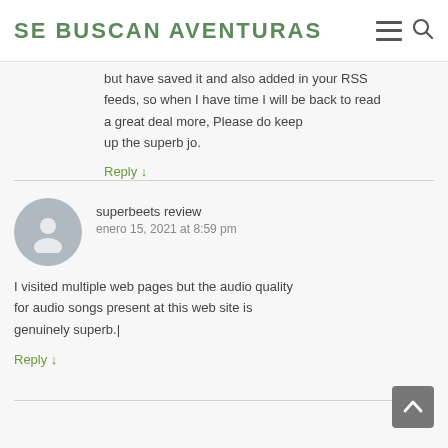SE BUSCAN AVENTURAS
but have saved it and also added in your RSS feeds, so when I have time I will be back to read a great deal more, Please do keep up the superb jo.
Reply ↓
superbeets review
enero 15, 2021 at 8:59 pm
I visited multiple web pages but the audio quality for audio songs present at this web site is genuinely superb.|
Reply ↓